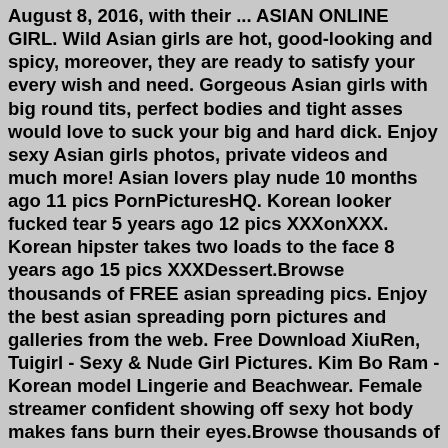August 8, 2016, with their ... ASIAN ONLINE GIRL. Wild Asian girls are hot, good-looking and spicy, moreover, they are ready to satisfy your every wish and need. Gorgeous Asian girls with big round tits, perfect bodies and tight asses would love to suck your big and hard dick. Enjoy sexy Asian girls photos, private videos and much more! Asian lovers play nude 10 months ago 11 pics PornPicturesHQ. Korean looker fucked tear 5 years ago 12 pics XXXonXXX. Korean hipster takes two loads to the face 8 years ago 15 pics XXXDessert.Browse thousands of FREE asian spreading pics. Enjoy the best asian spreading porn pictures and galleries from the web. Free Download XiuRen, Tuigirl - Sexy & Nude Girl Pictures. Kim Bo Ram - Korean model Lingerie and Beachwear. Female streamer confident showing off sexy hot body makes fans burn their eyes.Browse thousands of FREE asian spreading pics. Enjoy the best asian spreading porn pictures and galleries from the web. 7.106462. My currently girlfriend Mihye Posted by Savetonight (42) From: Korea, South. 8. 24139. My